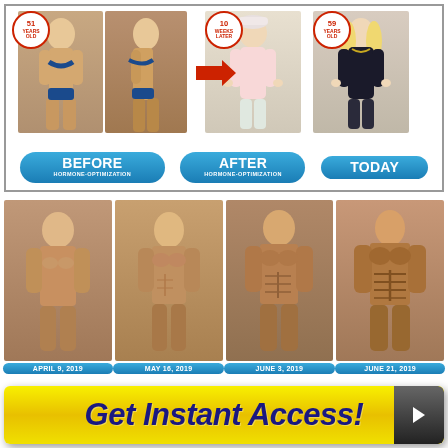[Figure (photo): Before/After/Today comparison of a woman showing hormone-optimization transformation. Left shows woman in bikini labeled 'BEFORE HORMONE-OPTIMIZATION' with badge '51 YEARS OLD'. Middle shows woman after with badge '10 WEEKS LATER', labeled 'AFTER HORMONE-OPTIMIZATION'. Right shows woman today labeled 'TODAY' with badge '59 YEARS OLD'.]
[Figure (photo): Four progress photos of a man's body transformation across dates: APRIL 9, 2019 / MAY 16, 2019 / JUNE 3, 2019 / JUNE 21, 2019, showing increasing muscle definition.]
Get Instant Access!